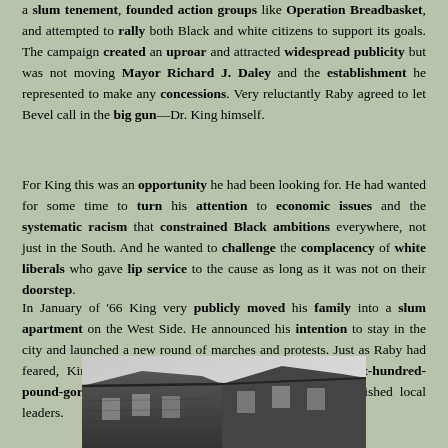a slum tenement, founded action groups like Operation Breadbasket, and attempted to rally both Black and white citizens to support its goals. The campaign created an uproar and attracted widespread publicity but was not moving Mayor Richard J. Daley and the establishment he represented to make any concessions. Very reluctantly Raby agreed to let Bevel call in the big gun—Dr. King himself.
For King this was an opportunity he had been looking for. He had wanted for some time to turn his attention to economic issues and the systematic racism that constrained Black ambitions everywhere, not just in the South. And he wanted to challenge the complacency of white liberals who gave lip service to the cause as long as it was not on their doorstep.
In January of '66 King very publicly moved his family into a slum apartment on the West Side. He announced his intention to stay in the city and launched a new round of marches and protests. Just as Raby had feared, King became the face of the movement, an eight-hundred-pound-gorilla in the media that left little room for established local leaders.
[Figure (photo): Black and white photograph of a building exterior, showing roofline and windows of what appears to be a slum or tenement building, viewed from a low angle.]